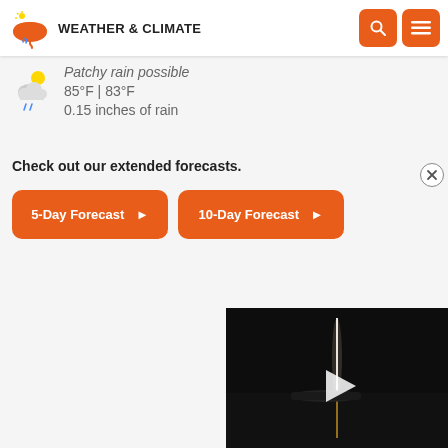WEATHER & CLIMATE
Patchy rain possible
85°F | 83°F
0.15 inches of rain
Check out our extended forecasts.
5-Day Forecast ►
10-Day Forecast ►
[Figure (screenshot): Night-time video thumbnail showing a bright vertical light streak over water with a play button overlay and close (X) button]